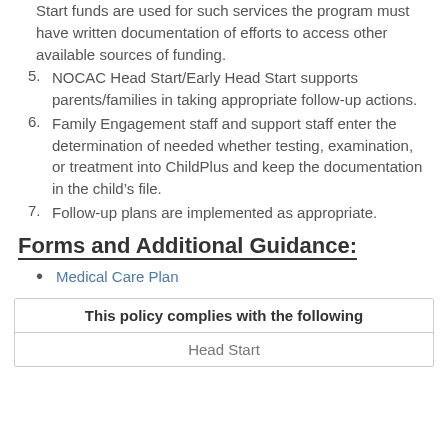Start funds are used for such services the program must have written documentation of efforts to access other available sources of funding.
5. NOCAC Head Start/Early Head Start supports parents/families in taking appropriate follow-up actions.
6. Family Engagement staff and support staff enter the determination of needed whether testing, examination, or treatment into ChildPlus and keep the documentation in the child’s file.
7. Follow-up plans are implemented as appropriate.
Forms and Additional Guidance:
Medical Care Plan
| This policy complies with the following |
| --- |
| Head Start |